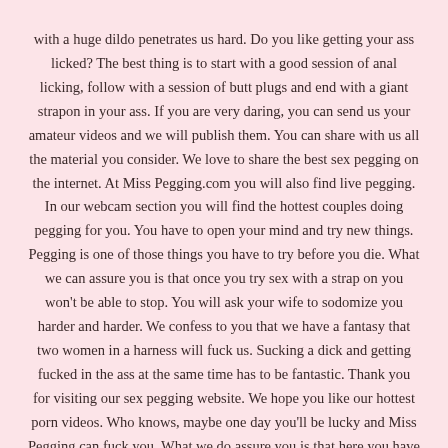with a huge dildo penetrates us hard. Do you like getting your ass licked? The best thing is to start with a good session of anal licking, follow with a session of butt plugs and end with a giant strapon in your ass. If you are very daring, you can send us your amateur videos and we will publish them. You can share with us all the material you consider. We love to share the best sex pegging on the internet. At Miss Pegging.com you will also find live pegging. In our webcam section you will find the hottest couples doing pegging for you. You have to open your mind and try new things. Pegging is one of those things you have to try before you die. What we can assure you is that once you try sex with a strap on you won't be able to stop. You will ask your wife to sodomize you harder and harder. We confess to you that we have a fantasy that two women in a harness will fuck us. Sucking a dick and getting fucked in the ass at the same time has to be fantastic. Thank you for visiting our sex pegging website. We hope you like our hottest porn videos. Who knows, maybe one day you'll be lucky and Miss Pegging can fuck you. What we do assure you is that here you have the best porn pegging videos on this stuff.